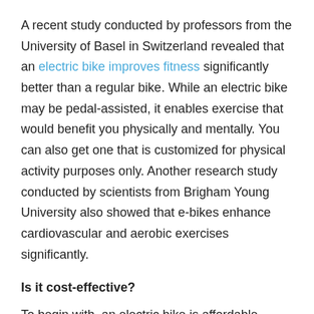A recent study conducted by professors from the University of Basel in Switzerland revealed that an electric bike improves fitness significantly better than a regular bike. While an electric bike may be pedal-assisted, it enables exercise that would benefit you physically and mentally. You can also get one that is customized for physical activity purposes only. Another research study conducted by scientists from Brigham Young University also showed that e-bikes enhance cardiovascular and aerobic exercises significantly.
Is it cost-effective?
To begin with, an electric bike is affordable compared to a treadmill. Also, because it does not require diesel or petrol, with an e-bike, you will only require to buy batteries that can last about 18-50 miles after being recharged.